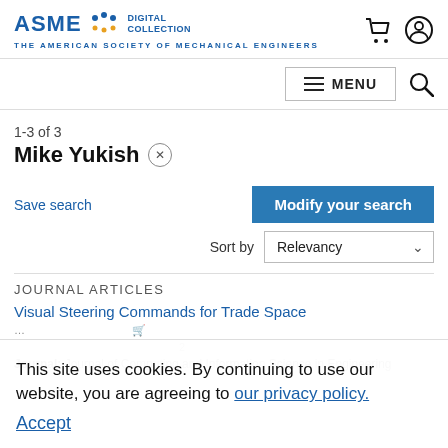ASME DIGITAL COLLECTION — THE AMERICAN SOCIETY OF MECHANICAL ENGINEERS
1-3 of 3
Mike Yukish ×
Save search
Modify your search
Sort by Relevancy
JOURNAL ARTICLES
Visual Steering Commands for Trade Space
This site uses cookies. By continuing to use our website, you are agreeing to our privacy policy. Accept
Journal: Journal of Computing and Information Science in Engineering